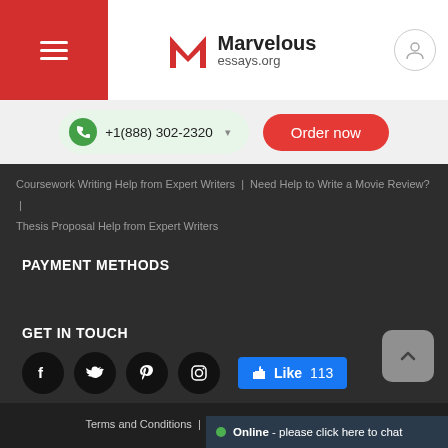Marvelous essays.org
+1(888) 302-2320
Order now
Coursework Writing Help from Expert Writers | Need Help to Write a Movie Review? | Thesis Proposal Help from Expert Writers
PAYMENT METHODS
GET IN TOUCH
[Figure (logo): Facebook, Twitter, Pinterest, Instagram social icons and Facebook Like button showing 113 likes]
Terms and Conditions | Privacy Policy | Delivery Policy
Online - please click here to chat